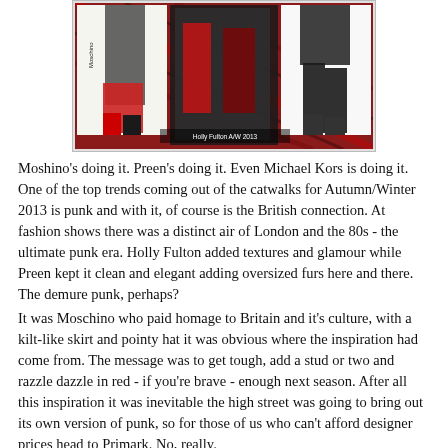[Figure (photo): Fashion runway photo collage showing models in punk-inspired Autumn/Winter 2013 looks including tartan/plaid patterns and red accents. Caption reads: Holly Fulton A/W 2013]
Moshino's doing it. Preen's doing it. Even Michael Kors is doing it. One of the top trends coming out of the catwalks for Autumn/Winter 2013 is punk and with it, of course is the British connection. At fashion shows there was a distinct air of London and the 80s - the ultimate punk era. Holly Fulton added textures and glamour while Preen kept it clean and elegant adding oversized furs here and there. The demure punk, perhaps?
It was Moschino who paid homage to Britain and it's culture, with a kilt-like skirt and pointy hat it was obvious where the inspiration had come from. The message was to get tough, add a stud or two and razzle dazzle in red - if you're brave - enough next season. After all this inspiration it was inevitable the high street was going to bring out its own version of punk, so for those of us who can't afford designer prices head to Primark. No, really.